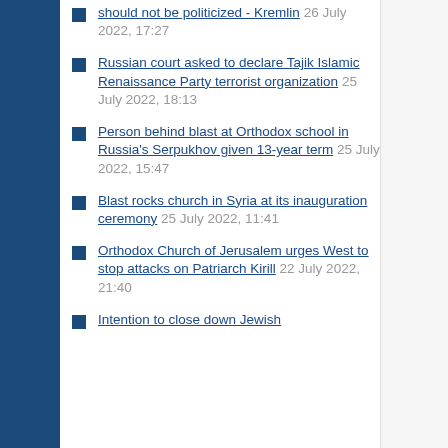should not be politicized - Kremlin 26 July 2022, 17:27
Russian court asked to declare Tajik Islamic Renaissance Party terrorist organization 25 July 2022, 18:13
Person behind blast at Orthodox school in Russia's Serpukhov given 13-year term 25 July 2022, 15:47
Blast rocks church in Syria at its inauguration ceremony 25 July 2022, 11:41
Orthodox Church of Jerusalem urges West to stop attacks on Patriarch Kirill 22 July 2022, 21:40
Intention to close down Jewish...